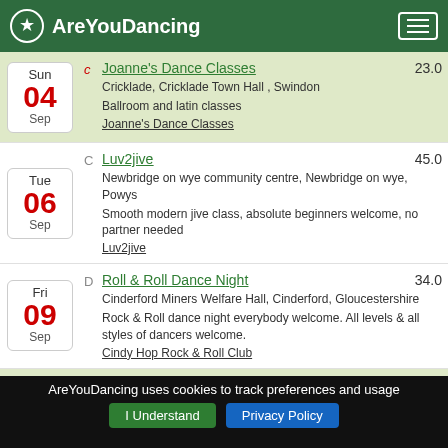AreYouDancing
Sun 04 Sep | c | Joanne's Dance Classes | 23.0 | Cricklade, Cricklade Town Hall, Swindon | Ballroom and latin classes | Joanne's Dance Classes
Tue 06 Sep | C | Luv2jive | 45.0 | Newbridge on wye community centre, Newbridge on wye, Powys | Smooth modern jive class, absolute beginners welcome, no partner needed | Luv2jive
Fri 09 Sep | D | Roll & Roll Dance Night | 34.0 | Cinderford Miners Welfare Hall, Cinderford, Gloucestershire | Rock & Roll dance night everybody welcome. All levels & all styles of dancers welcome. | Cindy Hop Rock & Roll Club
Sun 11 | c | Joanne's Dance Classes | 23.0 | Cricklade, Cricklade Town Hall, Swindon
AreYouDancing uses cookies to track preferences and usage
I Understand | Privacy Policy